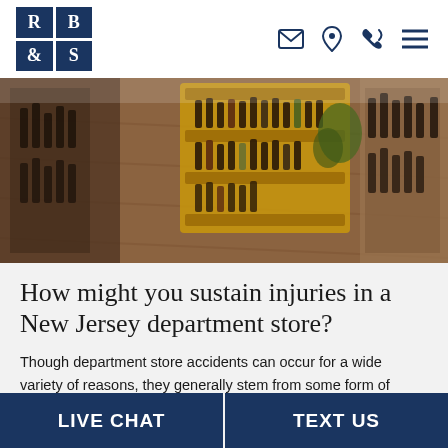[Figure (logo): RB&S law firm logo — 2x2 grid of dark navy blue squares with white letters R, B, &, S]
[Figure (photo): Overhead view of a retail store interior with shelves of wine/liquor bottles on wooden flooring]
How might you sustain injuries in a New Jersey department store?
Though department store accidents can occur for a wide variety of reasons, they generally stem from some form of negligence on the part of owners or staff. That said, some of the most common causes of department store accidents include, but are not limited to, the following:
LIVE CHAT | TEXT US